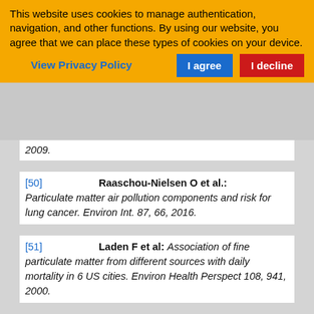This website uses cookies to manage authentication, navigation, and other functions. By using our website, you agree that we can place these types of cookies on your device.
View Privacy Policy   I agree   I decline
2009.
[50]   Raaschou-Nielsen O et al.: Particulate matter air pollution components and risk for lung cancer. Environ Int. 87, 66, 2016.
[51]   Laden F et al: Association of fine particulate matter from different sources with daily mortality in 6 US cities. Environ Health Perspect 108, 941, 2000.
[52]   Thurston G: Heart disease mortality and long-term exposures to source related components of US fine particle air pollution. EHP.